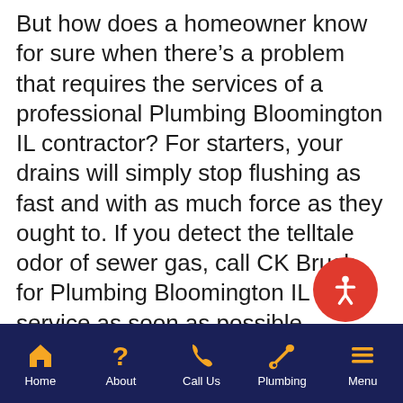But how does a homeowner know for sure when there's a problem that requires the services of a professional Plumbing Bloomington IL contractor? For starters, your drains will simply stop flushing as fast and with as much force as they ought to. If you detect the telltale odor of sewer gas, call CK Brush for Plumbing Bloomington IL service as soon as possible.
It may signal a broken pipe or a total obstruction. Even if you do not see or smell sewage in your residence there could be a clog at some point in your system from paper, grease, debris of some
[Figure (other): Red circular accessibility button with white person/accessibility icon]
[Figure (other): Mobile navigation bar with dark navy background showing five navigation items: Home (house icon), About (question mark icon), Call Us (phone icon), Plumbing (wrench icon), Menu (hamburger icon) — all icons and labels in orange/white]